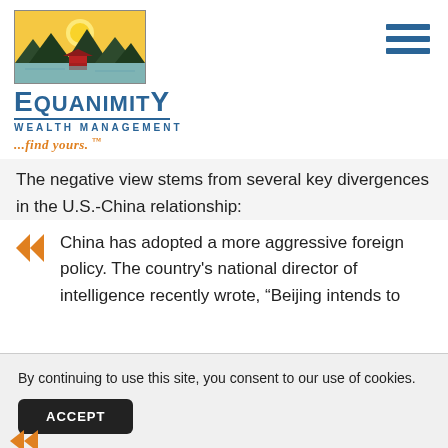[Figure (logo): Equanimity Wealth Management logo with mountain and lake landscape illustration above the company name]
The negative view stems from several key divergences in the U.S.-China relationship:
China has adopted a more aggressive foreign policy. The country's national director of intelligence recently wrote, “Beijing intends to
By continuing to use this site, you consent to our use of cookies.